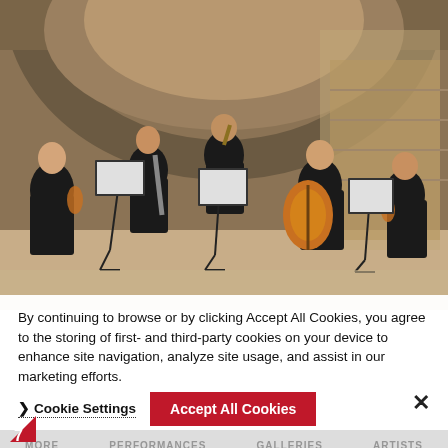[Figure (photo): Chamber music ensemble of about 6–7 musicians dressed in black, performing in a stone-vaulted architectural space. Musicians play cello, violin, clarinet, and other instruments, seated in a semicircle with music stands.]
By continuing to browse or by clicking Accept All Cookies, you agree to the storing of first- and third-party cookies on your device to enhance site navigation, analyze site usage, and assist in our marketing efforts.
> Cookie Settings   Accept All Cookies   ×